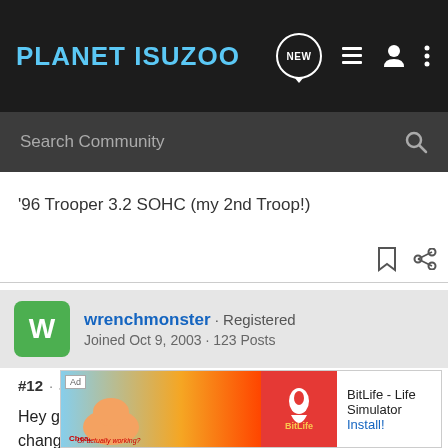PLANET ISUZOO
Search Community
'96 Trooper 3.2 SOHC (my 2nd Troop!)
wrenchmonster · Registered
Joined Oct 9, 2003 · 123 Posts
#12 · Jan 5, 2004
Hey guys. Yes, this design is a PITA as we all know. Filter changes should occur 30-40K, but like Joel says, it depends on how ofte... depend on how ... ng with
[Figure (screenshot): BitLife - Life Simulator advertisement overlay at the bottom of the page]